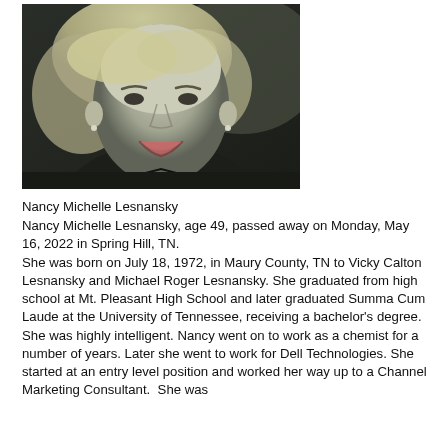[Figure (photo): Black and white portrait photograph of Nancy Michelle Lesnansky, a woman with shoulder-length blonde hair, smiling, wearing a dark top.]
Nancy Michelle Lesnansky
Nancy Michelle Lesnansky, age 49, passed away on Monday, May 16, 2022 in Spring Hill, TN. She was born on July 18, 1972, in Maury County, TN to Vicky Calton Lesnansky and Michael Roger Lesnansky. She graduated from high school at Mt. Pleasant High School and later graduated Summa Cum Laude at the University of Tennessee, receiving a bachelor's degree. She was highly intelligent. Nancy went on to work as a chemist for a number of years. Later she went to work for Dell Technologies. She started at an entry level position and worked her way up to a Channel Marketing Consultant.  She was